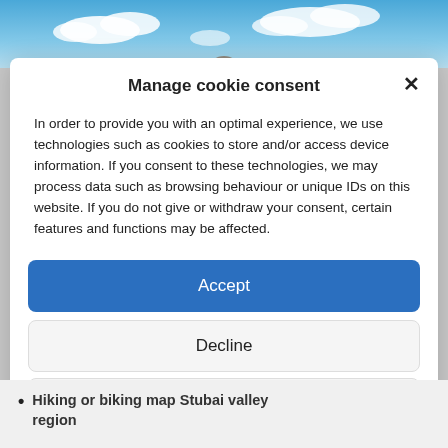[Figure (photo): Blue sky with white clouds background photo strip at top of page]
Manage cookie consent
In order to provide you with an optimal experience, we use technologies such as cookies to store and/or access device information. If you consent to these technologies, we may process data such as browsing behaviour or unique IDs on this website. If you do not give or withdraw your consent, certain features and functions may be affected.
Accept
Decline
View settings
Datenschutz EN   Impressum EN
Hiking or biking map Stubai valley region